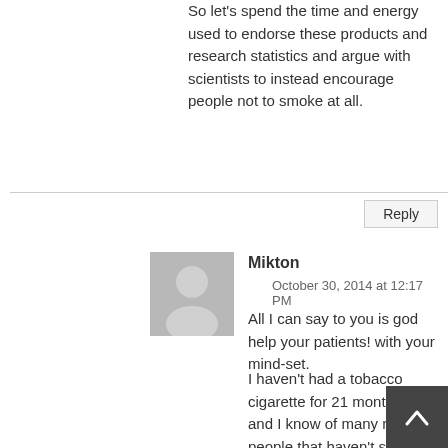So let's spend the time and energy used to endorse these products and research statistics and argue with scientists to instead encourage people not to smoke at all.
Reply
[Figure (illustration): Generic gray user avatar silhouette]
Mikton
October 30, 2014 at 12:17 PM
All I can say to you is god help your patients! with your mind-set.
I haven't had a tobacco cigarette for 21 months now and I know of many more people that haven't smoked for a lot longer than that, by using e-cigs and will never go back to smoking. So yes they can be permanent.
I never even think about smoking unlike many people who stop cold turkey or with NRT therapies, who constantly crave smoking